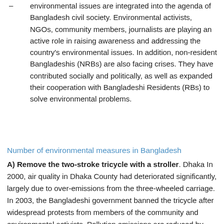Environmental action and the movement of environmental issues are integrated into the agenda of Bangladesh civil society. Environmental activists, NGOs, community members, journalists are playing an active role in raising awareness and addressing the country's environmental issues. In addition, non-resident Bangladeshis (NRBs) are also facing crises. They have contributed socially and politically, as well as expanded their cooperation with Bangladeshi Residents (RBs) to solve environmental problems.
Number of environmental measures in Bangladesh
A) Remove the two-stroke tricycle with a stroller. Dhaka In 2000, air quality in Dhaka County had deteriorated significantly, largely due to over-emissions from the three-wheeled carriage. In 2003, the Bangladeshi government banned the tricycle after widespread protests from members of the community and environmental activists. Pollution emissions are reduced by 25%